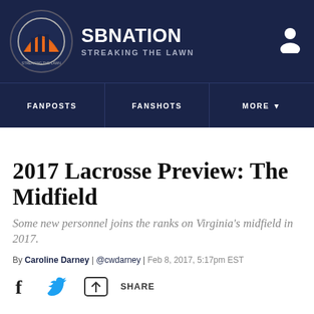SBNation — STREAKING THE LAWN
2017 Lacrosse Preview: The Midfield
Some new personnel joins the ranks on Virginia's midfield in 2017.
By Caroline Darney | @cwdarney | Feb 8, 2017, 5:17pm EST